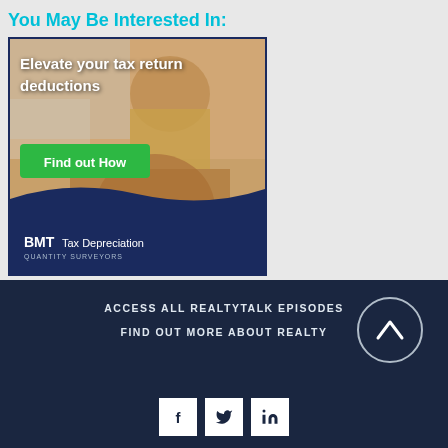You May Be Interested In:
[Figure (photo): BMT Tax Depreciation advertisement banner showing a father lifting a child, with text 'Elevate your tax return deductions' and a green 'Find out How' button]
ACCESS ALL REALTYTALK EPISODES
FIND OUT MORE ABOUT REALTY
[Figure (other): Circular scroll-up arrow button]
[Figure (other): Social media icons row: Facebook, Twitter, LinkedIn]